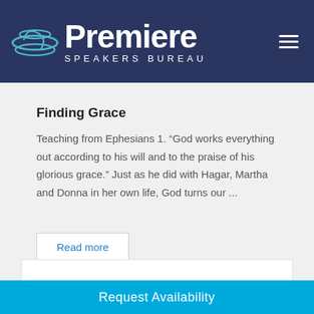Premiere Speakers Bureau
Finding Grace
Teaching from Ephesians 1. “God works everything out according to his will and to the praise of his glorious grace.” Just as he did with Hagar, Martha and Donna in her own life, God turns our ...
Read more
Request Availability